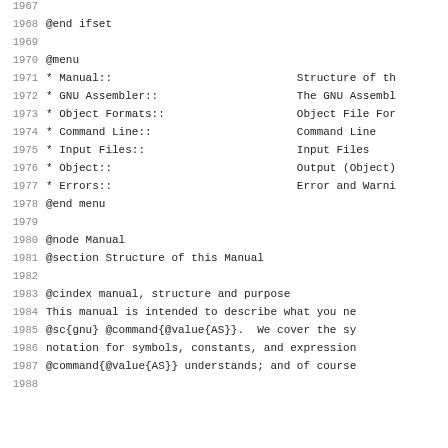1967
1968   @end ifset
1969
1970   @menu
1971   * Manual::                            Structure of th
1972   * GNU Assembler::                     The GNU Assembl
1973   * Object Formats::                    Object File For
1974   * Command Line::                      Command Line
1975   * Input Files::                       Input Files
1976   * Object::                            Output (Object)
1977   * Errors::                            Error and Warni
1978   @end menu
1979
1980   @node Manual
1981   @section Structure of this Manual
1982
1983   @cindex manual, structure and purpose
1984   This manual is intended to describe what you ne
1985   @sc{gnu} @command{@value{AS}}.  We cover the sy
1986   notation for symbols, constants, and expression
1987   @command{@value{AS}} understands; and of course
1988